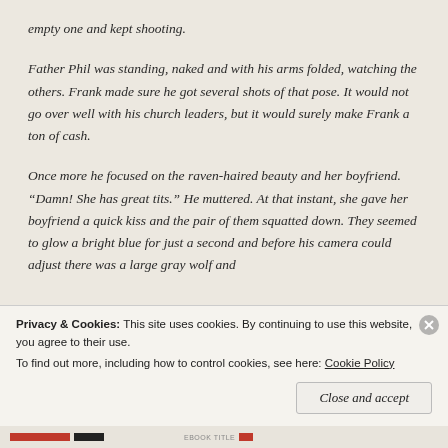empty one and kept shooting.
Father Phil was standing, naked and with his arms folded, watching the others. Frank made sure he got several shots of that pose. It would not go over well with his church leaders, but it would surely make Frank a ton of cash.
Once more he focused on the raven-haired beauty and her boyfriend. “Damn! She has great tits.” He muttered. At that instant, she gave her boyfriend a quick kiss and the pair of them squatted down. They seemed to glow a bright blue for just a second and before his camera could adjust there was a large gray wolf and
Privacy & Cookies: This site uses cookies. By continuing to use this website, you agree to their use.
To find out more, including how to control cookies, see here: Cookie Policy
Close and accept